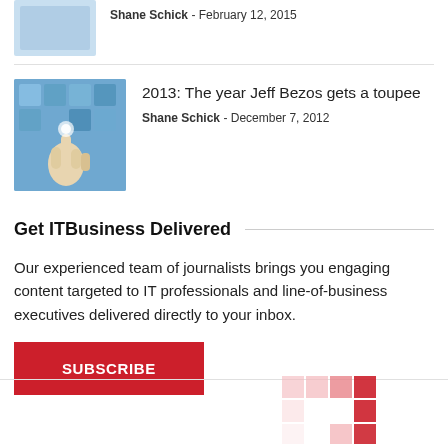[Figure (photo): Small thumbnail image of a mobile device/tablet screen, partially visible at top left]
Shane Schick - February 12, 2015
[Figure (photo): Blue image of a hand pointing at a touchscreen with floating icons]
2013: The year Jeff Bezos gets a toupee
Shane Schick - December 7, 2012
Get ITBusiness Delivered
Our experienced team of journalists brings you engaging content targeted to IT professionals and line-of-business executives delivered directly to your inbox.
SUBSCRIBE
[Figure (illustration): Partial mosaic/grid pattern in red and pink tones at bottom right corner]